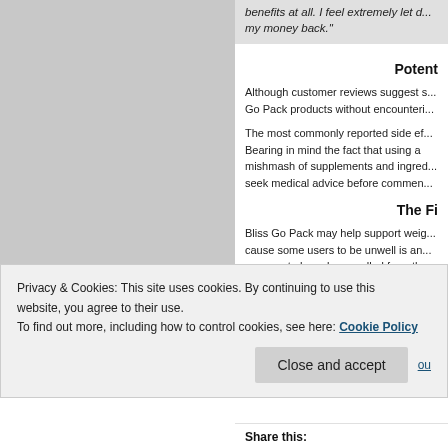benefits at all. I feel extremely let down. I want my money back.
Potent
Although customer reviews suggest s... Go Pack products without encounteri...
The most commonly reported side ef... Bearing in mind the fact that using a mishmash of supplements and ingred... seek medical advice before commen...
The Fi
Bliss Go Pack may help support weig... cause some users to be unwell is an... appears to have been pulled from the... were hoping to buy Bliss Go Pack yo... choose something else instead.
Availibili
n t d em
Privacy & Cookies: This site uses cookies. By continuing to use this website, you agree to their use. To find out more, including how to control cookies, see here: Cookie Policy
Close and accept
Share this: